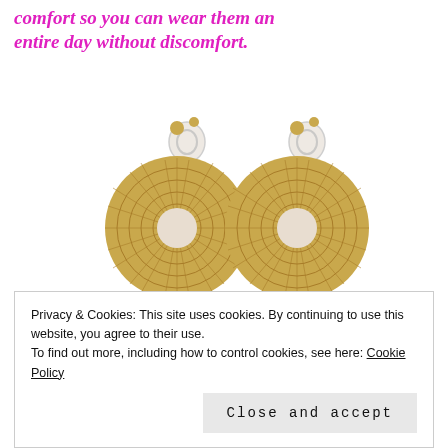comfort so you can wear them an entire day without discomfort.
[Figure (photo): Two gold circular disc clip-on earrings with a sunburst/radiating pattern and a central round cutout, with clear plastic clip backs. Shown as a pair on a white background.]
Privacy & Cookies: This site uses cookies. By continuing to use this website, you agree to their use.
To find out more, including how to control cookies, see here: Cookie Policy
Close and accept